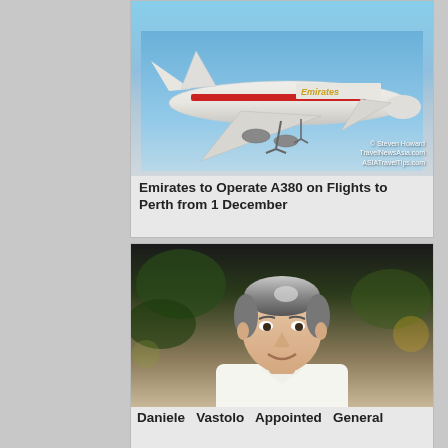[Figure (photo): Emirates A380 aircraft in flight against a blue sky, with red and white livery. Watermark reading '© Steven Howard TravelNewsAsia.com ASIATravelTips.com' in bottom right.]
Emirates to Operate A380 on Flights to Perth from 1 December
[Figure (photo): Portrait photo of a middle-aged man with gray-streaked hair, smiling, wearing a white shirt, with blurred green foliage in the background.]
Daniele Vastolo Appointed General